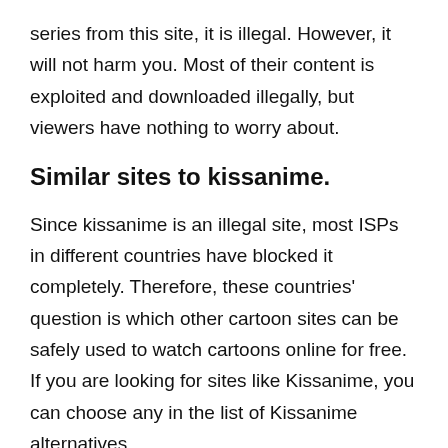series from this site, it is illegal. However, it will not harm you. Most of their content is exploited and downloaded illegally, but viewers have nothing to worry about.
Similar sites to kissanime.
Since kissanime is an illegal site, most ISPs in different countries have blocked it completely. Therefore, these countries' question is which other cartoon sites can be safely used to watch cartoons online for free. If you are looking for sites like Kissanime, you can choose any in the list of Kissanime alternatives.
Website: https://9anime-tv.com/
9anime works the same way as the Kissanime website. It